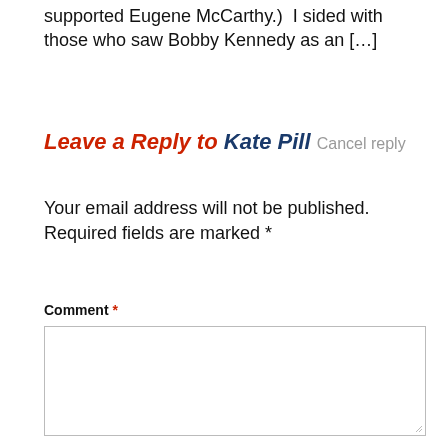supported Eugene McCarthy.)  I sided with those who saw Bobby Kennedy as an […]
Leave a Reply to Kate Pill Cancel reply
Your email address will not be published. Required fields are marked *
Comment *
[Figure (other): Empty comment text area input box with resize handle at bottom right]